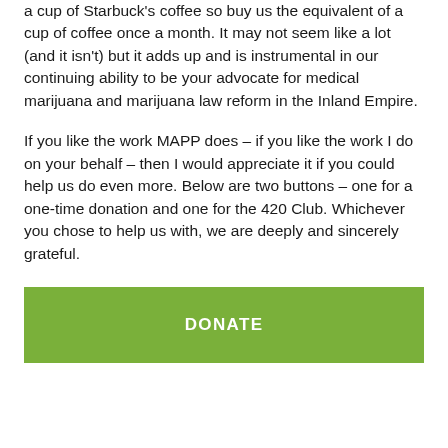a cup of Starbuck's coffee so buy us the equivalent of a cup of coffee once a month. It may not seem like a lot (and it isn't) but it adds up and is instrumental in our continuing ability to be your advocate for medical marijuana and marijuana law reform in the Inland Empire.
If you like the work MAPP does – if you like the work I do on your behalf – then I would appreciate it if you could help us do even more. Below are two buttons – one for a one-time donation and one for the 420 Club. Whichever you chose to help us with, we are deeply and sincerely grateful.
[Figure (other): Green button with white bold text reading DONATE]